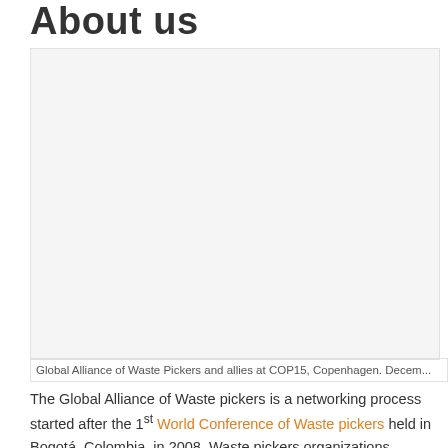About us
[Figure (photo): A photo of the Global Alliance of Waste Pickers and allies at COP15, Copenhagen, in December (year partially cut off).]
Global Alliance of Waste Pickers and allies at COP15, Copenhagen. Decem...
The Global Alliance of Waste pickers is a networking process started after the 1st World Conference of Waste pickers held in Bogotá, Colombia, in 2008. Waste pickers organizations